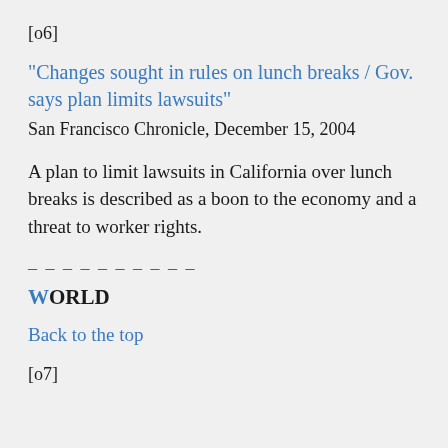[o6]
“Changes sought in rules on lunch breaks / Gov. says plan limits lawsuits”
San Francisco Chronicle, December 15, 2004
A plan to limit lawsuits in California over lunch breaks is described as a boon to the economy and a threat to worker rights.
––––––––––
WORLD
Back to the top
[o7]